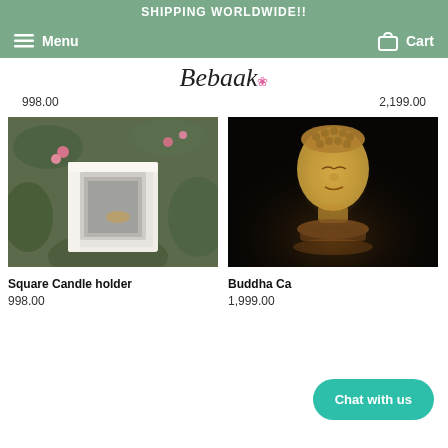SHIPPING WORLDWIDE!!
Menu  Cart
Bebaak
998.00
2,199.00
[Figure (photo): White square candle holder with floral background]
[Figure (photo): Buddha head candle glowing in dark background]
Square Candle holder
998.00
Buddha Ca...
1,999.00
Chat with us